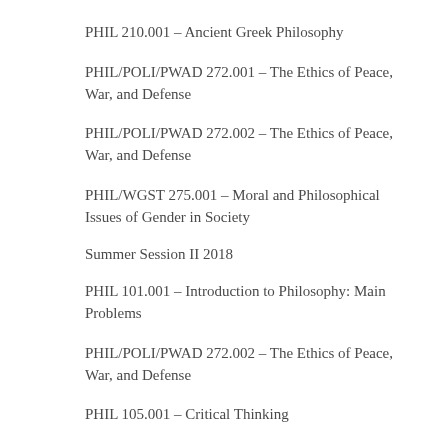PHIL 210.001 – Ancient Greek Philosophy
PHIL/POLI/PWAD 272.001 – The Ethics of Peace, War, and Defense
PHIL/POLI/PWAD 272.002 – The Ethics of Peace, War, and Defense
PHIL/WGST 275.001 – Moral and Philosophical Issues of Gender in Society
Summer Session II 2018
PHIL 101.001 – Introduction to Philosophy: Main Problems
PHIL/POLI/PWAD 272.002 – The Ethics of Peace, War, and Defense
PHIL 105.001 – Critical Thinking
PHIL/RELI 134/126.001 – Philosophy of Western Religion